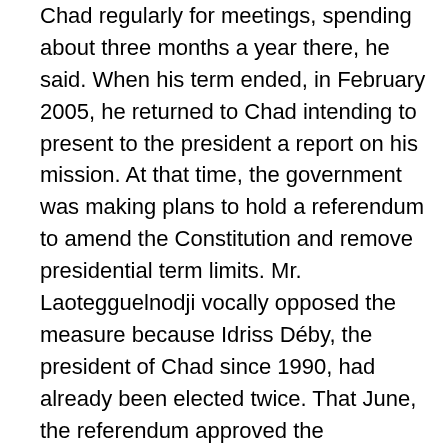Chad regularly for meetings, spending about three months a year there, he said. When his term ended, in February 2005, he returned to Chad intending to present to the president a report on his mission. At that time, the government was making plans to hold a referendum to amend the Constitution and remove presidential term limits. Mr. Laotegguelnodji vocally opposed the measure because Idriss Déby, the president of Chad since 1990, had already been elected twice. That June, the referendum approved the elimination of term limits. Mr. Laotegguelnodji found himself in the difficult position of having publicly broken with the president. Fearing for his safety, he fled Chad and resolved to make his future in the United States. He and his family applied for asylum in February 2006 and received final approval on Feb. 20, 2009. They are now permanent residents, and their ultimate goal is to gain citizenship. He currently earns